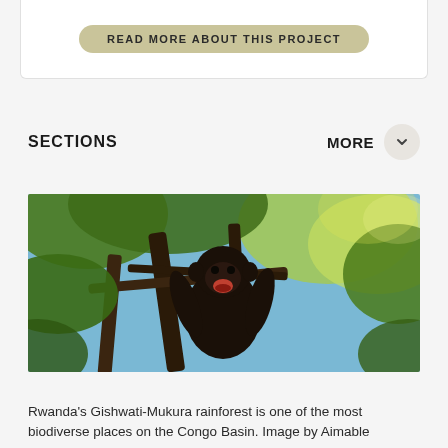READ MORE ABOUT THIS PROJECT
SECTIONS
MORE
[Figure (photo): A chimpanzee sitting in a tree with green foliage in Rwanda's Gishwati-Mukura rainforest]
Rwanda's Gishwati-Mukura rainforest is one of the most biodiverse places on the Congo Basin. Image by Aimable Twahirwa/IPS, Rwanda 2021.